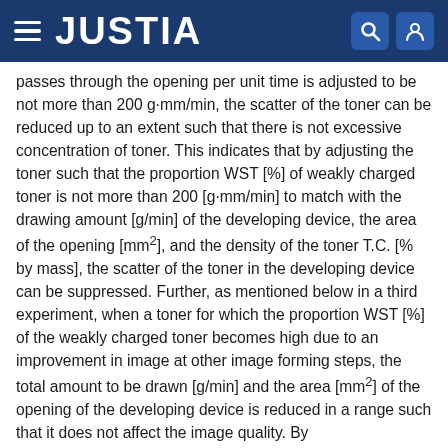JUSTIA
passes through the opening per unit time is adjusted to be not more than 200 g·mm/min, the scatter of the toner can be reduced up to an extent such that there is not excessive concentration of toner. This indicates that by adjusting the toner such that the proportion WST [%] of weakly charged toner is not more than 200 [g·mm/min] to match with the drawing amount [g/min] of the developing device, the area of the opening [mm2], and the density of the toner T.C. [% by mass], the scatter of the toner in the developing device can be suppressed. Further, as mentioned below in a third experiment, when a toner for which the proportion WST [%] of the weakly charged toner becomes high due to an improvement in image at other image forming steps, the total amount to be drawn [g/min] and the area [mm2] of the opening of the developing device is reduced in a range such that it does not affect the image quality. By